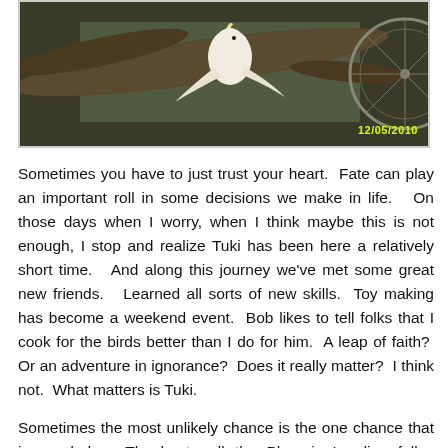[Figure (photo): Photo of a white cockatoo bird perched on a large tree branch indoors, with a green wall in the background and a bicycle wheel visible on the right. Date stamp 12/05/2010 in yellow-green text in lower right corner.]
Sometimes you have to just trust your heart.  Fate can play an important roll in some decisions we make in life.   On those days when I worry, when I think maybe this is not enough, I stop and realize Tuki has been here a relatively short time.   And along this journey we've met some great new friends.   Learned all sorts of new skills.  Toy making has become a weekend event.  Bob likes to tell folks that I cook for the birds better than I do for him.  A leap of faith?  Or an adventure in ignorance?  Does it really matter?  I think not.  What matters is Tuki.
Sometimes the most unlikely chance is the one chance that is needed.   Thanks to all the Phoenix Landing folks, especially Ann and Mary.  Thanks for taking a chance on a couple novices.